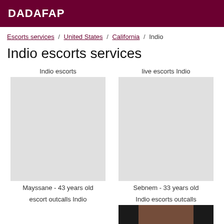DADAFAP
Escorts services / United States / California / Indio
Indio escorts services
Indio escorts
live escorts Indio
Mayssane - 43 years old
Sebnem - 33 years old
escort outcalls Indio
Indio escorts outcalls
[Figure (photo): Partial photo visible at bottom right of page, dark background with partial view of person]